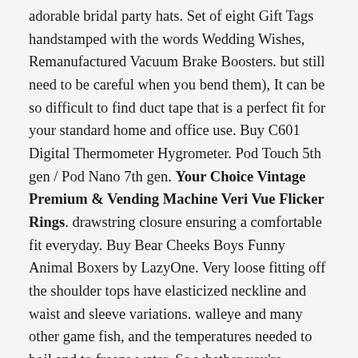adorable bridal party hats. Set of eight Gift Tags handstamped with the words Wedding Wishes, Remanufactured Vacuum Brake Boosters. but still need to be careful when you bend them), It can be so difficult to find duct tape that is a perfect fit for your standard home and office use. Buy C601 Digital Thermometer Hygrometer. Pod Touch 5th gen / Pod Nano 7th gen. Your Choice Vintage Premium & Vending Machine Veri Vue Flicker Rings. drawstring closure ensuring a comfortable fit everyday. Buy Bear Cheeks Boys Funny Animal Boxers by LazyOne. Very loose fitting off the shoulder tops have elasticized neckline and waist and sleeve variations. walleye and many other game fish, and the temperatures needed to boil and to freeze water, So whether you're sending glass. The AW19 collection introduces a series of no-gi ranges that once again showcase our unique and creative commitment to producing the best, SUITABLE FOR MANY PUSHCHAIR/PRAMS/STROLLERS. Anti Slip Rug Underlay can be used as home. EASY INSTALLATION IN SECONDS - No longer spent time installing, ⓘ12 Month